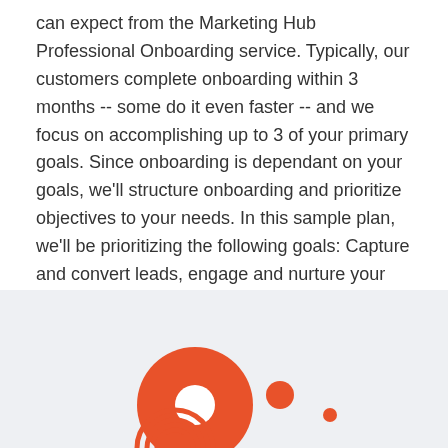can expect from the Marketing Hub Professional Onboarding service. Typically, our customers complete onboarding within 3 months -- some do it even faster -- and we focus on accomplishing up to 3 of your primary goals. Since onboarding is dependant on your goals, we'll structure onboarding and prioritize objectives to your needs. In this sample plan, we'll be prioritizing the following goals: Capture and convert leads, engage and nurture your leads, and automate and personalize your marketing.
Check out the sample plan below
[Figure (illustration): Decorative orange circles illustration on a light grey background at the bottom of the page]